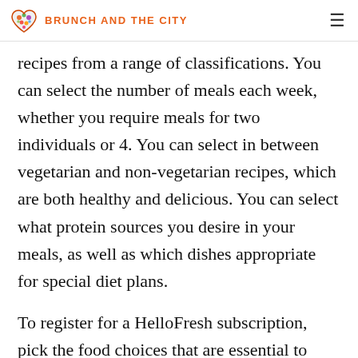BRUNCH AND THE CITY
recipes from a range of classifications. You can select the number of meals each week, whether you require meals for two individuals or 4. You can select in between vegetarian and non-vegetarian recipes, which are both healthy and delicious. You can select what protein sources you desire in your meals, as well as which dishes appropriate for special diet plans.
To register for a HelloFresh subscription, pick the food choices that are essential to